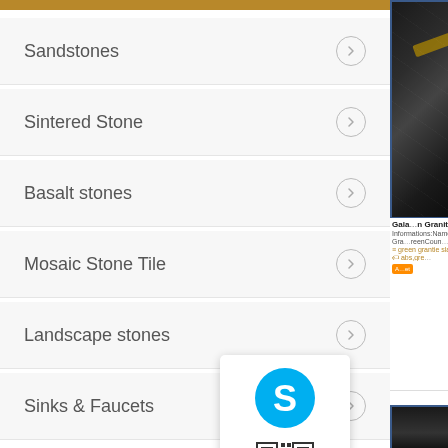Sandstones
Sintered Stone
Basalt stones
Mosaic Stone Tile
Landscape stones
Sinks & Faucets
[Figure (photo): Dark black granite slab with white veining in a warehouse setting]
Gala... n Granite
Informations:Name: Gala... Gra... reenCoun...
green grantie slab
abs,gre...
[Figure (photo): Second dark granite slab product image at bottom]